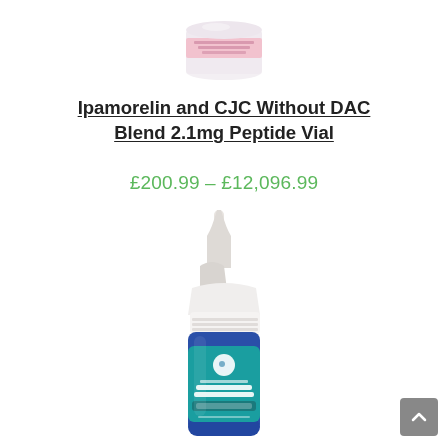[Figure (illustration): Top portion of a pink/white peptide vial product, cropped at top of page]
Ipamorelin and CJC Without DAC Blend 2.1mg Peptide Vial
£200.99 – £12,096.99
[Figure (photo): Blue glass nasal spray bottle with white pump nozzle, teal label reading PEPTIDE NASAL SPRAY IPAMORELIN with a small circular logo]